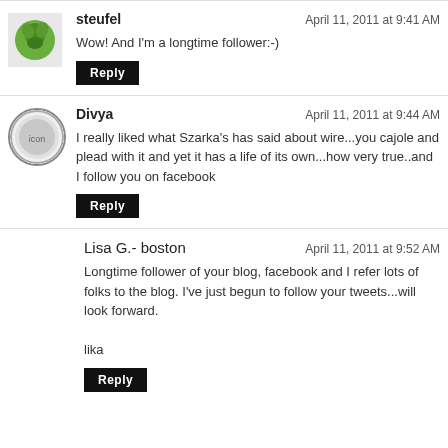steufel — April 11, 2011 at 9:41 AM
Wow! And I'm a longtime follower:-)
Divya — April 11, 2011 at 9:44 AM
I really liked what Szarka's has said about wire...you cajole and plead with it and yet it has a life of its own...how very true..and I follow you on facebook
Lisa G.- boston — April 11, 2011 at 9:52 AM
Longtime follower of your blog, facebook and I refer lots of folks to the blog. I've just begun to follow your tweets...will look forward.

lika